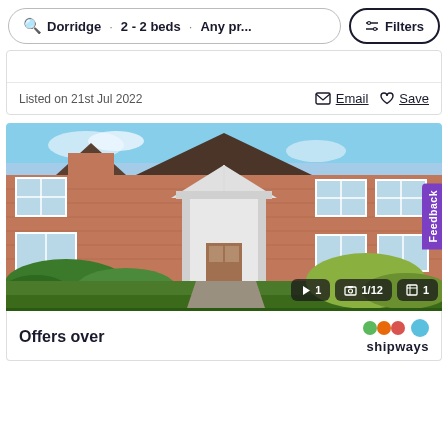Dorridge · 2 - 2 beds · Any pr... Filters
Listed on 21st Jul 2022
Email   Save
[Figure (photo): Front exterior of a two-storey red brick property with white entrance porch, multiple windows, and surrounding hedgerow and greenery. Image counter shows 1 video, 1/12 photos, 1 floorplan.]
Offers over
shipways